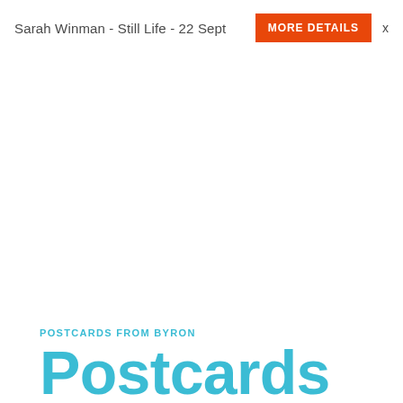Sarah Winman - Still Life - 22 Sept  MORE DETAILS  x
POSTCARDS FROM BYRON
Postcards from Byron